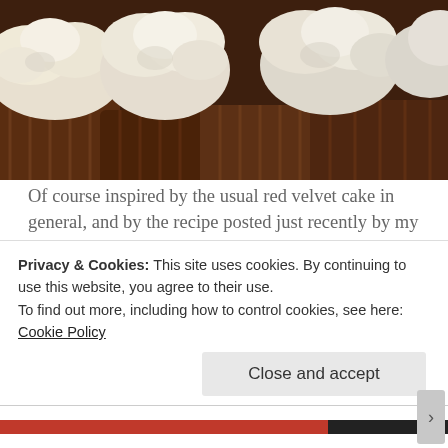[Figure (photo): Close-up photo of chocolate cupcakes with white cream cheese frosting on top, viewed from above at an angle.]
Of course inspired by the usual red velvet cake in general, and by the recipe posted just recently by my lovely blogging-friend The Cooking Chook in particular, I decided to make a batch of chocolate cupcakes. I particularly liked the sound of the white chocolate, cream cheese icing, so, with my devil-may-
Privacy & Cookies: This site uses cookies. By continuing to use this website, you agree to their use.
To find out more, including how to control cookies, see here: Cookie Policy
Close and accept